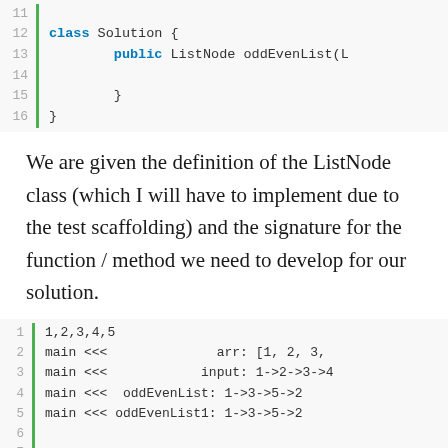[Figure (screenshot): Code editor screenshot showing lines 11-16 of Java code: class Solution { public ListNode oddEvenList(L ... } }]
We are given the definition of the ListNode class (which I will have to implement due to the test scaffolding) and the signature for the function / method we need to develop for our solution.
[Figure (screenshot): Code output screenshot showing lines 1-8 with console output: 1,2,3,4,5 / main <<< arr: [1, 2, 3, / main <<< input: 1->2->3->4 / main <<< oddEvenList: 1->3->5->2 / main <<< oddEvenList1: 1->3->5->2 / (blank lines 6,7) / 1,2,3,4,5,6 / main <<< arr: [1, 2, 3,]